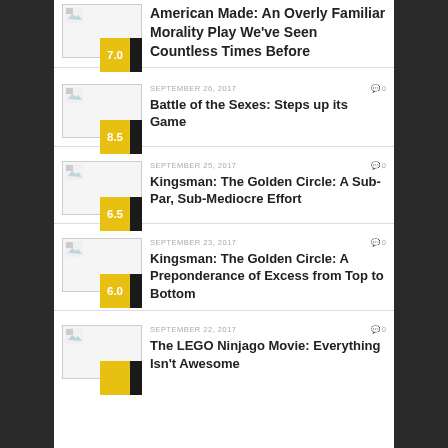7.0 | American Made: An Overly Familiar Morality Play We've Seen Countless Times Before
SEPTEMBER 26, 2017 | 0 | 8.5 | Battle of the Sexes: Steps up its Game
SEPTEMBER 25, 2017 | 0 | 6.5 | Kingsman: The Golden Circle: A Sub-Par, Sub-Mediocre Effort
SEPTEMBER 23, 2017 | 0 | 6.0 | Kingsman: The Golden Circle: A Preponderance of Excess from Top to Bottom
SEPTEMBER 22, 2017 | 0 | The LEGO Ninjago Movie: Everything Isn't Awesome